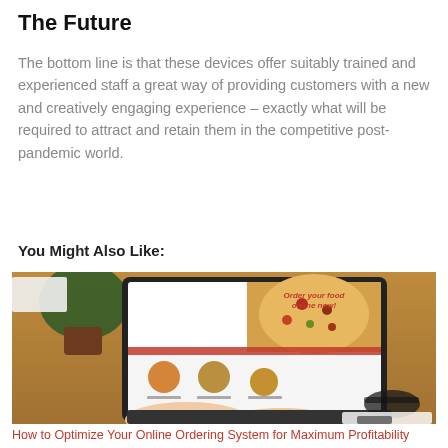The Future
The bottom line is that these devices offer suitably trained and experienced staff a great way of providing customers with a new and creatively engaging experience – exactly what will be required to attract and retain them in the competitive post-pandemic world.
You Might Also Like:
[Figure (photo): Person typing on a laptop displaying a food online ordering website with a pizza image and 'Order your food online now!' text. A plant, glasses, and notebook are visible on the wooden desk.]
How to Optimize Your Online Ordering System for Maximum Profitability